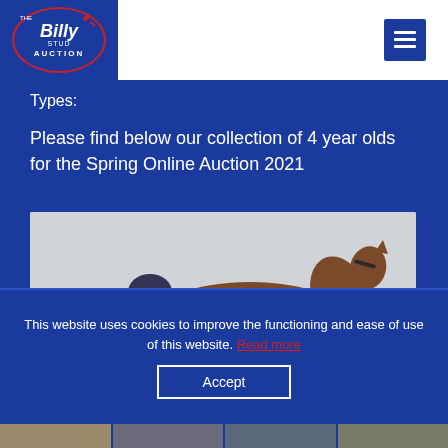[Figure (logo): The Billy Stud Auction logo — red circular border with 'Billy' in white italic text, 'STUD' label, 'THE' top-left, 'AUCTION' bottom, red gavel icon, on dark blue background]
Types:
Please find below our collection of 4 year olds for the Spring Online Auction 2021
[Figure (photo): A chestnut horse partially visible — head and neck area shown against a light grey/white background]
This website uses cookies to improve the functioning and ease of use of this website. Read more
Accept